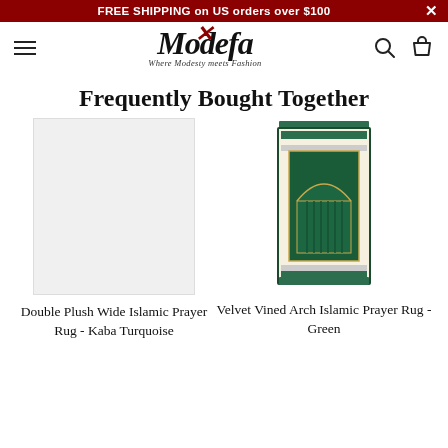FREE SHIPPING on US orders over $100
[Figure (logo): Modefa logo with cursive script text 'Modefa' and tagline 'Where Modesty meets Fashion', with decorative feather element in red]
Frequently Bought Together
[Figure (photo): Velvet Vined Arch Islamic Prayer Rug in Green color - rectangular prayer rug with dark green background, arch/mihrab design, decorative border pattern with small squares]
Double Plush Wide Islamic Prayer Rug - Kaba Turquoise
Velvet Vined Arch Islamic Prayer Rug - Green